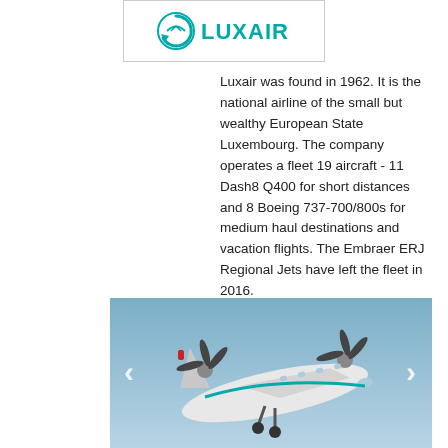[Figure (logo): Luxair airline logo with teal circular arrow symbol and LUXAIR text in teal]
Luxair was found in 1962. It is the national airline of the small but wealthy European State Luxembourg. The company operates a fleet 19 aircraft - 11 Dash8 Q400 for short distances and 8 Boeing 737-700/800s for medium haul destinations and vacation flights. The Embraer ERJ Regional Jets have left the fleet in 2016.
[Figure (photo): Luxair Dash8 Q400 turboprop aircraft photographed from below during takeoff or landing, against a blue sky background, with navigation arrows on left and right sides of the image]